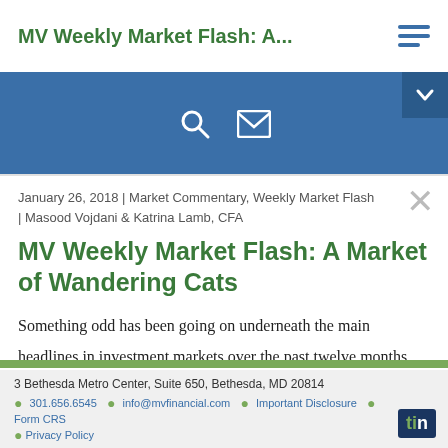MV Weekly Market Flash: A...
January 26, 2018 | Market Commentary, Weekly Market Flash | Masood Vojdani & Katrina Lamb, CFA
MV Weekly Market Flash: A Market of Wandering Cats
Something odd has been going on underneath the main headlines in investment markets over the past twelve months. The big story, of course, is how everything has gone
3 Bethesda Metro Center, Suite 650, Bethesda, MD 20814
301.656.6545 · info@mvfinancial.com · Important Disclosure · Form CRS · Privacy Policy